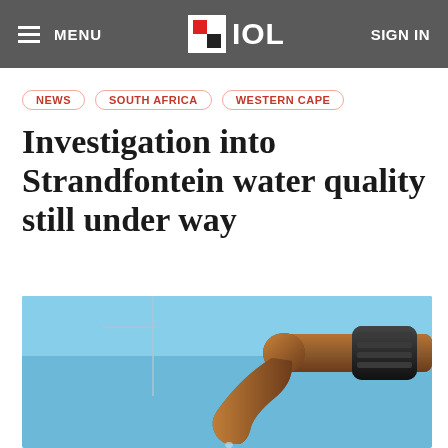MENU | IOL | SIGN IN
NEWS
SOUTH AFRICA
WESTERN CAPE
Investigation into Strandfontein water quality still under way
[Figure (photo): Close-up photo of an old copper/bronze outdoor water tap/faucet against a bright blue sky background, with water dripping from the spout.]